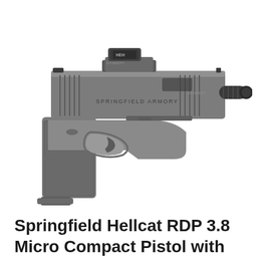[Figure (photo): A Springfield Armory Hellcat RDP 3.8 Micro Compact Pistol shown in profile view from the right side. The pistol is gray/dark colored with a textured grip, threaded barrel, and a red dot optic mounted on the slide. The slide reads 'SPRINGFIELD ARMORY'. The image is on a white background.]
Springfield Hellcat RDP 3.8 Micro Compact Pistol with